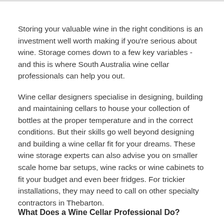Storing your valuable wine in the right conditions is an investment well worth making if you're serious about wine. Storage comes down to a few key variables - and this is where South Australia wine cellar professionals can help you out.
Wine cellar designers specialise in designing, building and maintaining cellars to house your collection of bottles at the proper temperature and in the correct conditions. But their skills go well beyond designing and building a wine cellar fit for your dreams. These wine storage experts can also advise you on smaller scale home bar setups, wine racks or wine cabinets to fit your budget and even beer fridges. For trickier installations, they may need to call on other specialty contractors in Thebarton.
What Does a Wine Cellar Professional Do?